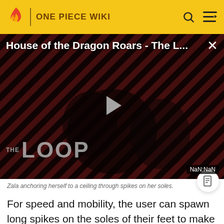ONE PIECE WIKI
[Figure (screenshot): Video player thumbnail showing 'House of the Dragon Roars - The L...' with a play button, diagonal stripe background, THE LOOP watermark, and NaN:NaN timer. Shows a person in dark lighting.]
Zala anchoring herself to a ceiling through spikes on her soles.
For speed and mobility, the user can spawn long spikes on the soles of their feet to make greater and quicker steps or to attach themselves to the surface of a ceiling, allowing them to gain a high foothold for speak